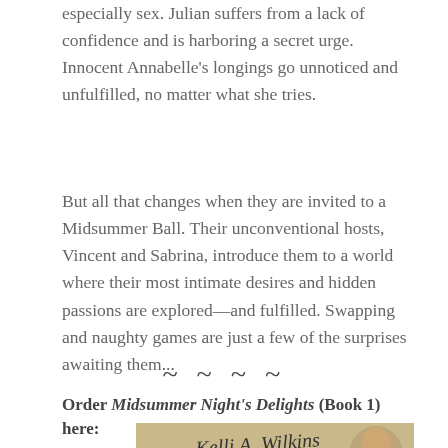especially sex. Julian suffers from a lack of confidence and is harboring a secret urge. Innocent Annabelle's longings go unnoticed and unfulfilled, no matter what she tries.
But all that changes when they are invited to a Midsummer Ball. Their unconventional hosts, Vincent and Sabrina, introduce them to a world where their most intimate desires and hidden passions are explored—and fulfilled. Swapping and naughty games are just a few of the surprises awaiting them...
~~~
Order Midsummer Night's Delights (Book 1) here:
[Figure (illustration): Book cover image showing a handwritten signature style text reading 'Kelli A. Wilkins' with a partial face/portrait visible on the right side, on a warm tan/parchment background]